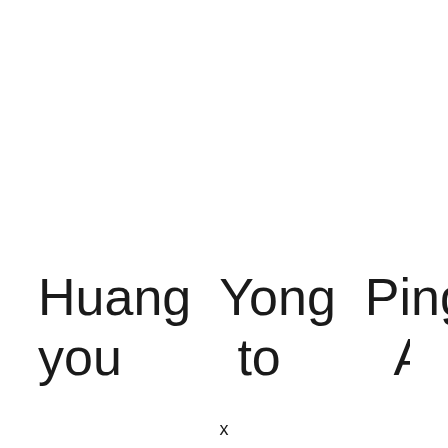Huang Yong Ping takes you to Abbottabad
x